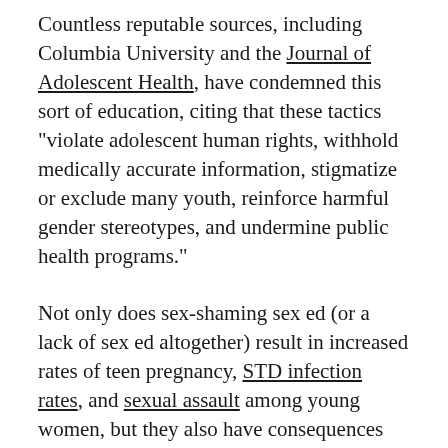Countless reputable sources, including Columbia University and the Journal of Adolescent Health, have condemned this sort of education, citing that these tactics "violate adolescent human rights, withhold medically accurate information, stigmatize or exclude many youth, reinforce harmful gender stereotypes, and undermine public health programs."
Not only does sex-shaming sex ed (or a lack of sex ed altogether) result in increased rates of teen pregnancy, STD infection rates, and sexual assault among young women, but they also have consequences that reverberate through the rest of women's lives. When sex ed discusses sex as an act that ends with the culmination of male pleasure, it decentralizes the female experience and takes the [possibility of female pleasure away from her]